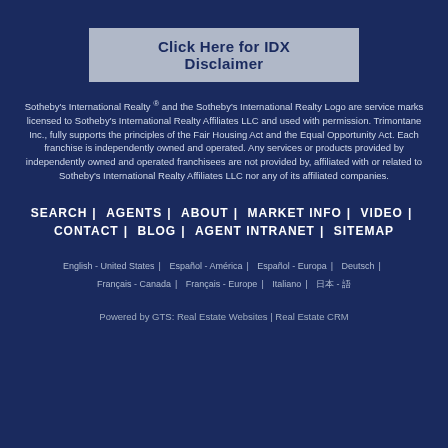Click Here for IDX Disclaimer
Sotheby's International Realty ® and the Sotheby's International Realty Logo are service marks licensed to Sotheby's International Realty Affiliates LLC and used with permission. Trimontane Inc., fully supports the principles of the Fair Housing Act and the Equal Opportunity Act. Each franchise is independently owned and operated. Any services or products provided by independently owned and operated franchisees are not provided by, affiliated with or related to Sotheby's International Realty Affiliates LLC nor any of its affiliated companies.
SEARCH | AGENTS | ABOUT | MARKET INFO | VIDEO | CONTACT | BLOG | AGENT INTRANET | SITEMAP
English - United States | Español - América | Español - Europa | Deutsch | Français - Canada | Français - Europe | Italiano | 日本 - 語
Powered by GTS: Real Estate Websites | Real Estate CRM